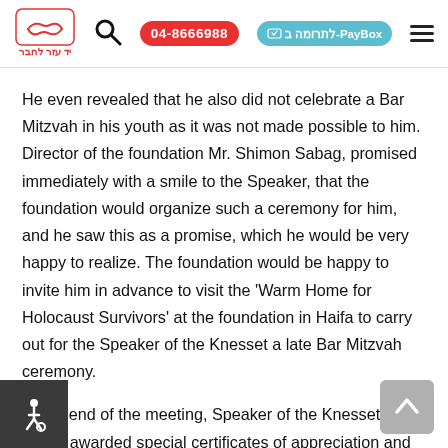Logo: Yad Ezer L'Haver | Search icon | Phone: 04-8666988 | לתרומה ב-PayBox | Menu
He even revealed that he also did not celebrate a Bar Mitzvah in his youth as it was not made possible to him. Director of the foundation Mr. Shimon Sabag, promised immediately with a smile to the Speaker, that the foundation would organize such a ceremony for him, and he saw this as a promise, which he would be very happy to realize. The foundation would be happy to invite him in advance to visit the 'Warm Home for Holocaust Survivors' at the foundation in Haifa to carry out for the Speaker of the Knesset a late Bar Mitzvah ceremony.
At the end of the meeting, Speaker of the Knesset estein awarded special certificates of appreciation and